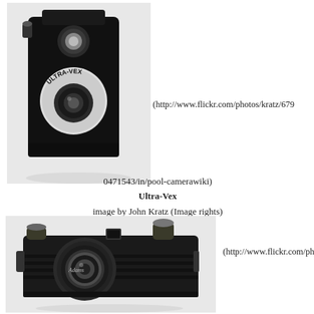[Figure (photo): Black Ultra-Vex box camera photographed at an angle, showing dual lenses, on a light background]
(http://www.flickr.com/photos/kratz/6790471543/in/pool-camerawiki)
Ultra-Vex
image by John Kratz (Image rights)
[Figure (photo): Black Adams camera (vintage, bakelite) photographed at an angle showing lens and body detail, on a light background]
(http://www.flickr.com/photo